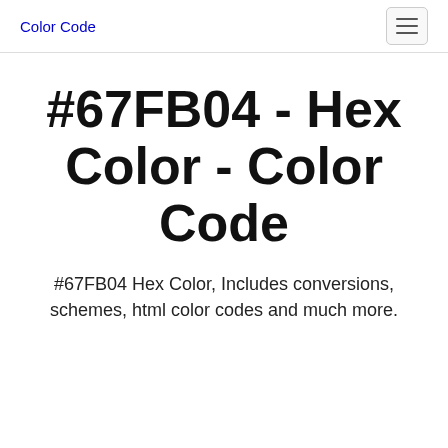Color Code
#67FB04 - Hex Color - Color Code
#67FB04 Hex Color, Includes conversions, schemes, html color codes and much more.